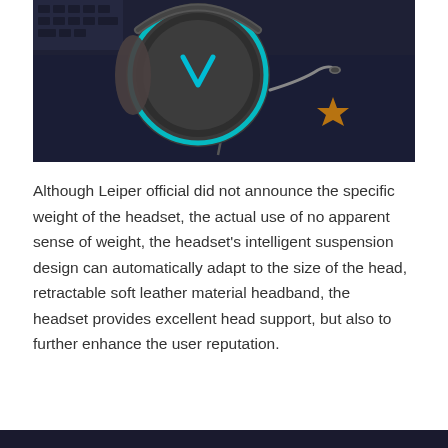[Figure (photo): Close-up photo of a gaming headset (Rapoo/Leiper brand) with a dark gray earcup featuring a cyan/teal V-shaped logo, blue LED ring around the earcup, cushioned ear padding, and a flexible microphone arm. The headset rests on a dark surface alongside a keyboard and gaming mouse pad with a star design.]
Although Leiper official did not announce the specific weight of the headset, the actual use of no apparent sense of weight, the headset's intelligent suspension design can automatically adapt to the size of the head, retractable soft leather material headband, the headset provides excellent head support, but also to further enhance the user reputation.